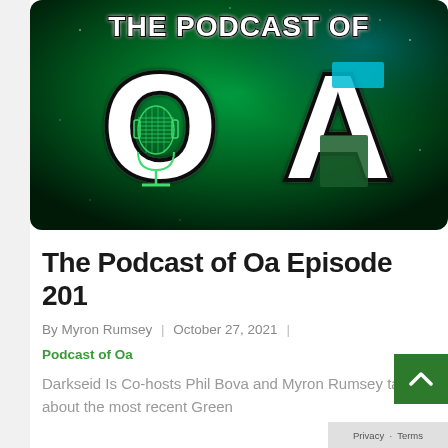[Figure (logo): The Podcast of Oa logo — large stylized text 'OA' on dark green space background with a vintage microphone inside the 'O' letter, bold white outlined letters with green glow effect, title text 'THE PODCAST OF OA' at the top]
The Podcast of Oa Episode 201
By Myron Rumsey | October 27, 2021 |
Podcast of Oa
Darkseid Is Co-hosts Phil Bova and Myron Rumsey talk about the most recent Green